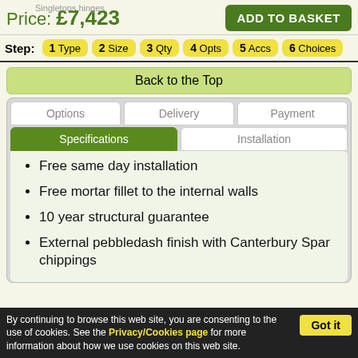Price: £7,423  ADD TO BASKET
Step: 1 Type  2 Size  3 Qty  4 Opts  5 Accs  6 Choices
Back to the Top
Options  Delivery  Payment
Specifications  Installation
Free same day installation
Free mortar fillet to the internal walls
10 year structural guarantee
External pebbledash finish with Canterbury Spar chippings
By continuing to browse this web site, you are consenting to the use of cookies. See the Privacy/Cookies page for more information about how we use cookies on this web site.